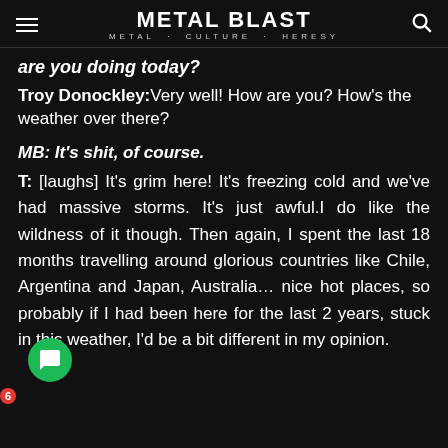METAL BLAST · METAL · CULTURE · HERESY
are you doing today?
Troy Donockley: Very well! How are you? How's the weather over there?
MB: It's shit, of course.
T: [laughs] It's grim here! It's freezing cold and we've had massive storms. It's just awful.I do like the wildness of it though. Then again, I spent the last 18 months travelling around glorious countries like Chile, Argentina and Japan, Australia… nice hot places, so probably if I had been here for the last 2 years, stuck in this weather, I'd be a bit different in my opinion.